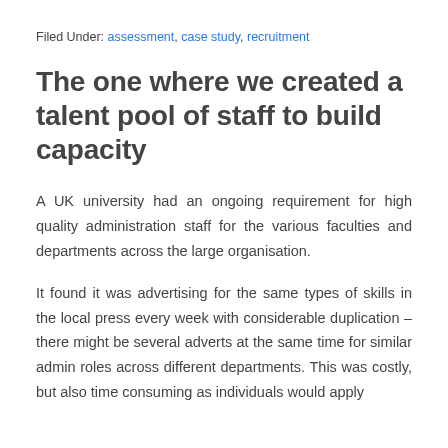Filed Under: assessment, case study, recruitment
The one where we created a talent pool of staff to build capacity
A UK university had an ongoing requirement for high quality administration staff for the various faculties and departments across the large organisation.
It found it was advertising for the same types of skills in the local press every week with considerable duplication – there might be several adverts at the same time for similar admin roles across different departments. This was costly, but also time consuming as individuals would apply